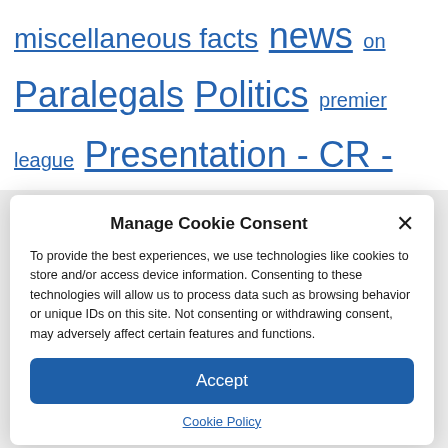miscellaneous facts news on Paralegals Politics premier league Presentation - CR - reaction (cat) psg ranking restaurant Rugby Season 2021-2022 Soccer society sport Straight Trial Video violence wire news
Manage Cookie Consent
To provide the best experiences, we use technologies like cookies to store and/or access device information. Consenting to these technologies will allow us to process data such as browsing behavior or unique IDs on this site. Not consenting or withdrawing consent, may adversely affect certain features and functions.
Accept
Cookie Policy